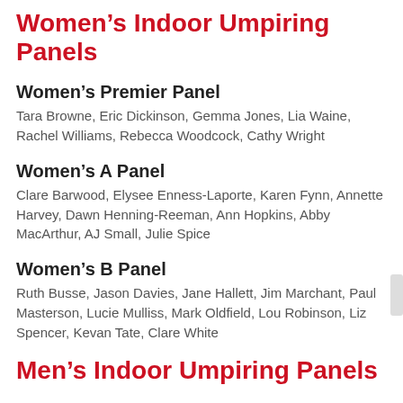Women’s Indoor Umpiring Panels
Women’s Premier Panel
Tara Browne, Eric Dickinson, Gemma Jones, Lia Waine, Rachel Williams, Rebecca Woodcock, Cathy Wright
Women’s A Panel
Clare Barwood, Elysee Enness-Laporte, Karen Fynn, Annette Harvey, Dawn Henning-Reeman, Ann Hopkins, Abby MacArthur, AJ Small, Julie Spice
Women’s B Panel
Ruth Busse, Jason Davies, Jane Hallett, Jim Marchant, Paul Masterson, Lucie Mulliss, Mark Oldfield, Lou Robinson, Liz Spencer, Kevan Tate, Clare White
Men’s Indoor Umpiring Panels